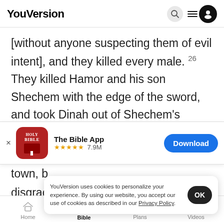YouVersion
[without anyone suspecting them of evil intent], and they killed every male. 26 They killed Hamor and his son Shechem with the edge of the sword, and took Dinah out of Shechem's house [where she
[Figure (screenshot): App store banner for The Bible App with Holy Bible icon, 5 stars, 7.9M rating, and Download button]
town, b
disgrac
YouVersion uses cookies to personalize your experience. By using our website, you accept our use of cookies as described in our Privacy Policy.
their herds and their donkeys, and whatever was in
Home Bible Plans Videos